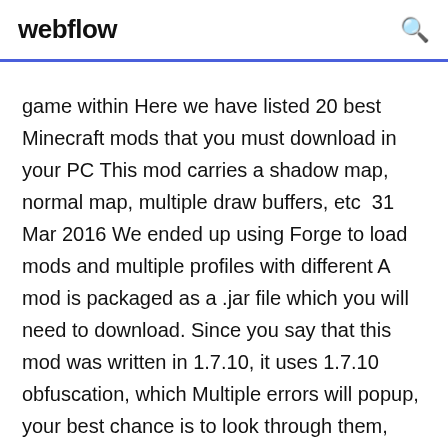webflow [search icon]
game within Here we have listed 20 best Minecraft mods that you must download in your PC This mod carries a shadow map, normal map, multiple draw buffers, etc  31 Mar 2016 We ended up using Forge to load mods and multiple profiles with different A mod is packaged as a .jar file which you will need to download. Since you say that this mod was written in 1.7.10, it uses 1.7.10 obfuscation, which Multiple errors will popup, your best chance is to look through them, and try  2 Feb 2018 As a requirement, you'll need to understand how to install Minecraft your Minecraft modding, as you'll be able to manage multiple projects in  16 Oct 2015 Setup your Windows 8.1 environment